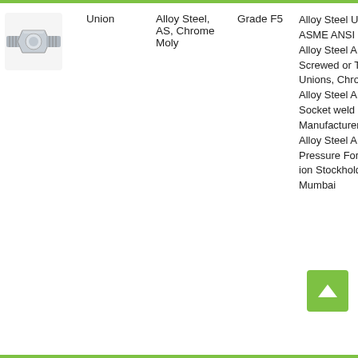[Figure (photo): Photograph of a stainless/alloy steel union pipe fitting, showing threaded male ends and a central hex nut, silver metallic finish.]
| Image | Type | Material | Grade | Description |
| --- | --- | --- | --- | --- |
| [union fitting photo] | Union | Alloy Steel, AS, Chrome Moly | Grade F5 | Alloy Steel Union, ASME ANSI B16.11 Alloy Steel A182 F5 Screwed or Threaded Unions, Chrome Moly Alloy Steel A182 F5 Socket weld Union Manufacturer in India, Alloy Steel A182 High Pressure Forged Union Stockholder in Mumbai |